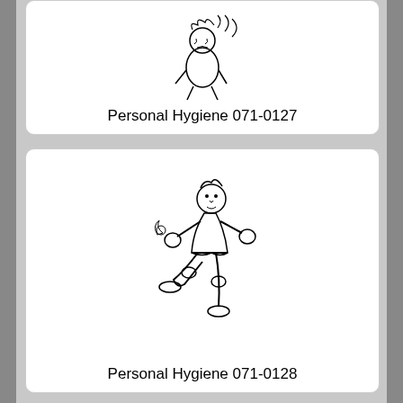[Figure (illustration): Cartoon illustration of a person hunched over, appearing dirty or smelly, representing personal hygiene concept 071-0127]
Personal Hygiene 071-0127
[Figure (illustration): Cartoon illustration of a person doing a karate kick or martial arts move, representing personal hygiene concept 071-0128]
Personal Hygiene 071-0128
[Figure (illustration): Cartoon illustration of a person jumping with arms outstretched, partially visible, representing a personal hygiene concept]